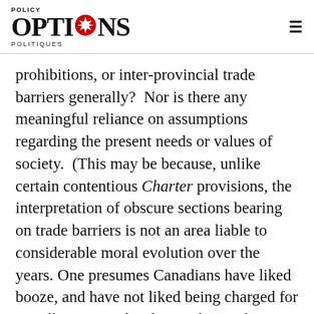POLICY OPTIONS POLITIQUES
prohibitions, or inter-provincial trade barriers generally?  Nor is there any meaningful reliance on assumptions regarding the present needs or values of society.  (This may be because, unlike certain contentious Charter provisions, the interpretation of obscure sections bearing on trade barriers is not an area liable to considerable moral evolution over the years. One presumes Canadians have liked booze, and have not liked being charged for travelling across borders with it, rather consistently over the years.)